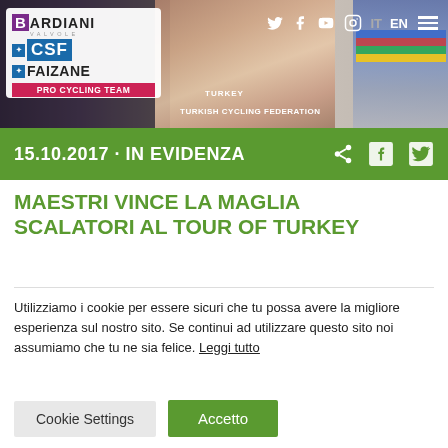[Figure (screenshot): Website header banner showing a cyclist at the Tour of Turkey with Bardiani CSF Faizane Pro Cycling Team logo, social media icons (Twitter, Facebook, YouTube, Instagram), language toggle IT/EN, hamburger menu, and text overlays 'TURKEY', 'TURKISH CYCLING FEDERATION']
15.10.2017 · IN EVIDENZA
MAESTRI VINCE LA MAGLIA SCALATORI AL TOUR OF TURKEY
Utilizziamo i cookie per essere sicuri che tu possa avere la migliore esperienza sul nostro sito. Se continui ad utilizzare questo sito noi assumiamo che tu ne sia felice. Leggi tutto
Cookie Settings   Accetto